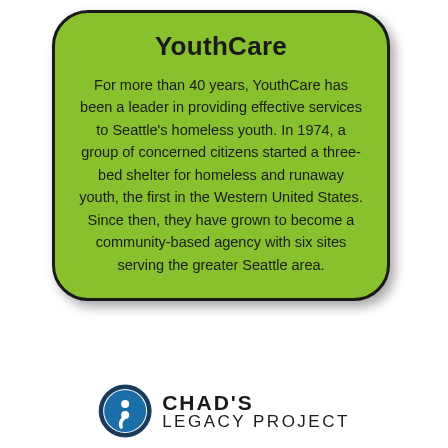YouthCare
For more than 40 years, YouthCare has been a leader in providing effective services to Seattle's homeless youth. In 1974, a group of concerned citizens started a three-bed shelter for homeless and runaway youth, the first in the Western United States. Since then, they have grown to become a community-based agency with six sites serving the greater Seattle area.
[Figure (logo): Chad's Legacy Project logo: a circle with a semicolon inside (blue and white), next to the text CHAD'S LEGACY PROJECT in bold/regular black lettering]